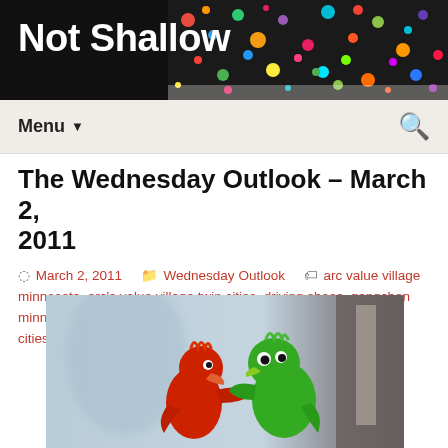Not Shallow
Menu
The Wednesday Outlook – March 2, 2011
March 2, 2011   Wednesday Outlook   arc value village minnesota, arc's value village twin cities, driving shoes, gangchen minneapolis, rework, thrift shopping richfield, thrift shopping twin cities, thrift store tips, zumba minneapolis, zumba minnesota
[Figure (photo): Two small plastic toy figures — a red one and a green one (resembling roosters or birds) — appearing to face each other, photographed against a blurred indoor background.]